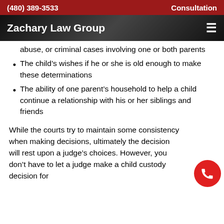(480) 389-3533    Consultation
Zachary Law Group
abuse, or criminal cases involving one or both parents
The child's wishes if he or she is old enough to make these determinations
The ability of one parent's household to help a child continue a relationship with his or her siblings and friends
While the courts try to maintain some consistency when making decisions, ultimately the decision will rest upon a judge's choices. However, you don't have to let a judge make a child custody decision for